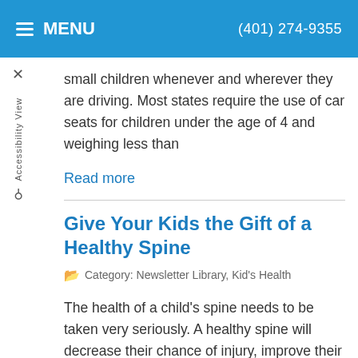MENU   (401) 274-9355
small children whenever and wherever they are driving. Most states require the use of car seats for children under the age of 4 and weighing less than
Read more
Give Your Kids the Gift of a Healthy Spine
Category: Newsletter Library, Kid's Health
The health of a child's spine needs to be taken very seriously. A healthy spine will decrease their chance of injury, improve their posture, improve their overall health and help to avoid spinal problems such as